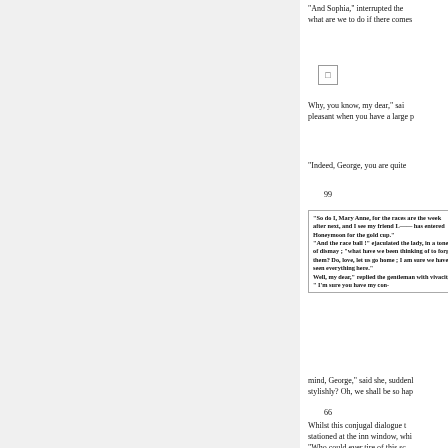"And Sophia," interrupted the what are we to do if there comes
Why, you know, my dear," sai pleasant when you have a large p
"Indeed, George, you are quite
99
"So do I, Mary Anne, for the races are the week after next, and I see my friend L—— has entered Honeymoon for the gold cup." " And the race ball !" ejaculated the lady, in a tone of dismay ; "what have we been thinking of to forget them? Do, love, let us go home ; I am sure we have seen everything here." Well, my dear," replied the gentleman with vivacity, " I'm sure you have my con-
mind, George," said she, suddenl stylishly? Oh, we shall be so hap
66
Whilst this conjugal dialogue t stationed at the inn window, whi different strain. We shall merely friendship, Moore's Melodies, ha
"Who could ever tire of this sc